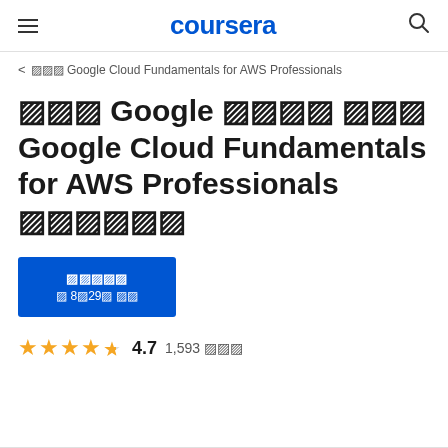coursera
< □□□ Google Cloud Fundamentals for AWS Professionals
□□□ Google □□□□ □□□ Google Cloud Fundamentals for AWS Professionals □□□□□□
□□□□□ □ 8□29□ □□
4.7  1,593 □□□